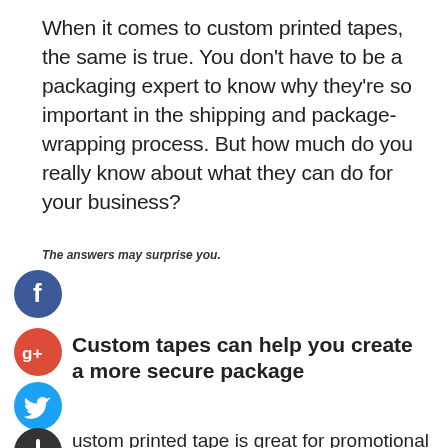When it comes to custom printed tapes, the same is true. You don't have to be a packaging expert to know why they're so important in the shipping and package-wrapping process. But how much do you really know about what they can do for your business?
The answers may surprise you.
[Figure (logo): Facebook social share icon - blue circle with white 'f' letter]
[Figure (logo): Google+ social share icon - red circle with white 'g+' text]
Custom tapes can help you create a more secure package
[Figure (logo): Twitter social share icon - blue circle with white bird logo]
[Figure (logo): Add/share icon - dark circle with white plus sign]
Custom printed tape is great for promotional purposes, but did you know that it can also help ensure your products are safe and free from theft? That's because of its ability to close packages with